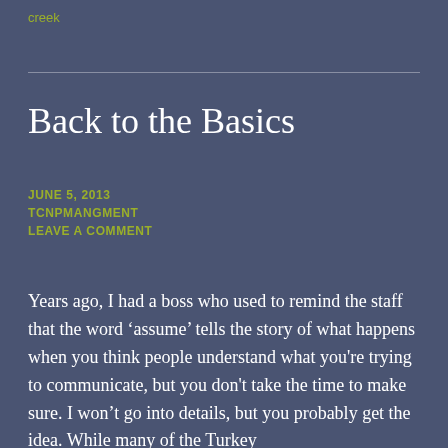creek
Back to the Basics
JUNE 5, 2013
TCNPMANGMENT
LEAVE A COMMENT
Years ago, I had a boss who used to remind the staff that the word ‘assume’ tells the story of what happens when you think people understand what you're trying to communicate, but you don't take the time to make sure. I won’t go into details, but you probably get the idea. While many of the Turkey